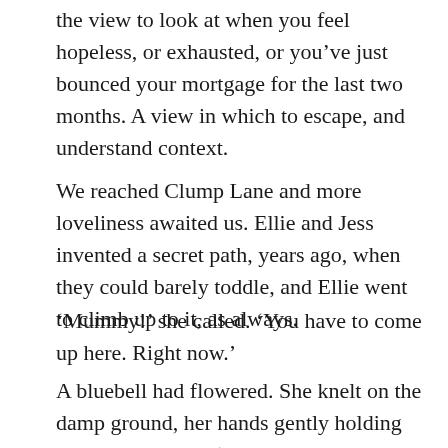the view to look at when you feel hopeless, or exhausted, or you've just bounced your mortgage for the last two months. A view in which to escape, and understand context.
We reached Clump Lane and more loveliness awaited us. Ellie and Jess invented a secret path, years ago, when they could barely toddle, and Ellie went to climb up to it, as always.
'Mummy!' she called. 'You have to come up here. Right now.'
A bluebell had flowered. She knelt on the damp ground, her hands gently holding up so I could see. 'That's what you've been waiting for, isn't